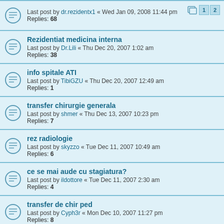Last post by dr.rezidentx1 « Wed Jan 09, 2008 11:44 pm
Replies: 68
Rezidentiat medicina interna
Last post by Dr.Lili « Thu Dec 20, 2007 1:02 am
Replies: 38
info spitale ATI
Last post by TibiGZU « Thu Dec 20, 2007 12:49 am
Replies: 1
transfer chirurgie generala
Last post by shmer « Thu Dec 13, 2007 10:23 pm
Replies: 7
rez radiologie
Last post by skyzzo « Tue Dec 11, 2007 10:49 am
Replies: 6
ce se mai aude cu stagiatura?
Last post by ildottore « Tue Dec 11, 2007 2:30 am
Replies: 4
transfer de chir ped
Last post by Cyph3r « Mon Dec 10, 2007 11:27 pm
Replies: 8
Inteligenta artificiala....
Last post by ildottore « Mon Dec 10, 2007 10:35 pm
Replies: 6
neonatologie..ce parere aveti de ea?in special iasi
Last post by lucian « Mon Dec 10, 2007 10:31 pm
Replies: 6
cum se obtine detasarea din alt oras????
Last post by Madi « Mon Dec 10, 2007 8:30 pm
Replies: 14
Ai un cont...!!!!!!...